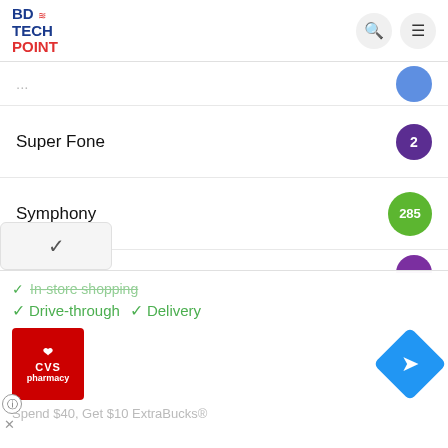BD TECH POINT
Super Fone — 2
Symphony — 285
Tecno — 3
Tinmo — 11
Titanic — 13
Uncategorized — 11
[Figure (screenshot): CVS Pharmacy advertisement overlay showing Drive-through and Delivery services, with CVS logo and navigation icon. Bottom text: Spend $40, Get $10 ExtraBucks®]